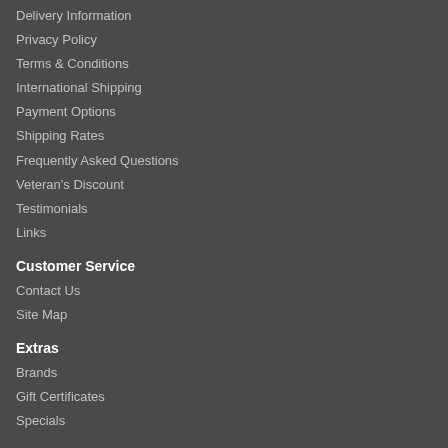Delivery Information
Privacy Policy
Terms & Conditions
International Shipping
Payment Options
Shipping Rates
Frequently Asked Questions
Veteran's Discount
Testimonials
Links
Customer Service
Contact Us
Site Map
Extras
Brands
Gift Certificates
Specials
My Account
My Account
Order History
Newsletter